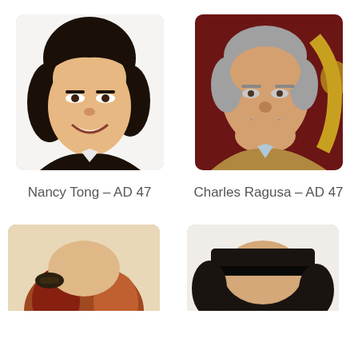[Figure (photo): Headshot photo of Nancy Tong, Asian woman with short dark hair, smiling, wearing black jacket, white background]
Nancy Tong – AD 47
[Figure (photo): Headshot photo of Charles Ragusa, older man with grey hair and mustache, wearing tan jacket, dark red background with gold decoration]
Charles Ragusa – AD 47
[Figure (photo): Partial headshot of a person with reddish-brown hair, partially visible, cropped at bottom of page]
[Figure (photo): Partial headshot of a person with dark hair, partially visible, cropped at bottom of page]